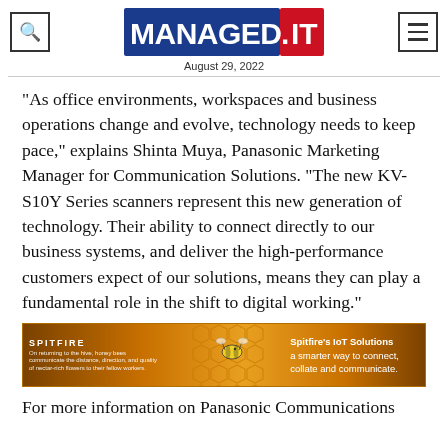MANAGED.IT — August 29, 2022
“As office environments, workspaces and business operations change and evolve, technology needs to keep pace,” explains Shinta Muya, Panasonic Marketing Manager for Communication Solutions. “The new KV-S10Y Series scanners represent this new generation of technology. Their ability to connect directly to our business systems, and deliver the high-performance customers expect of our solutions, means they can play a fundamental role in the shift to digital working.”
[Figure (illustration): Spitfire IoT Solutions advertisement banner with honeycomb background, bee image, and text: Spitfire’s IoT Solutions a smarter way to connect, collate and communicate.]
For more information on Panasonic Communications